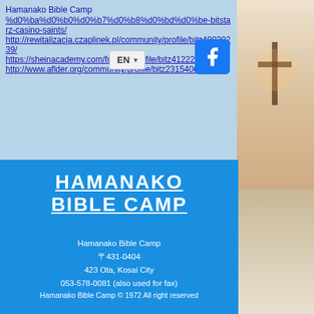Hamanako Bible Camp %d0%ba%d0%b0%d0%b7%d0%b8%d0%bd%d0%be-bitstarz-casino-saints/ http://rewitalizacja.czaplinek.pl/community/profile/bitz49020239/ https://sheinacademy.com/forums/profile/bitz41222432/ http://www.aflder.org/community/profile/bitz23154069/
HAMANAKO BIBLE CAMP
Hamanako Bible Camp
〒431-0404
423 Ota, Kosai City
053-578-0081 (also used for fax)
Hamanako Bible Camp © 1972 All right reserved
Top
What is HBC